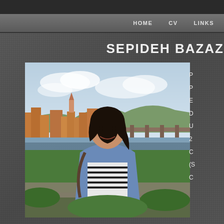HOME   CV   LINKS
SEPIDEH BAZAZ
[Figure (photo): Portrait photo of Sepideh Bazazadeh smiling, wearing a denim jacket over a striped shirt, standing outdoors with a European city skyline and river bridge in the background]
P
P
E
D
U
2
C
(S
C